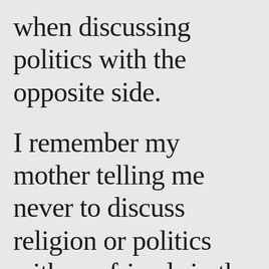when discussing politics with the opposite side.
I remember my mother telling me never to discuss religion or politics with my friends in the neighborhood. Now I know why. Take